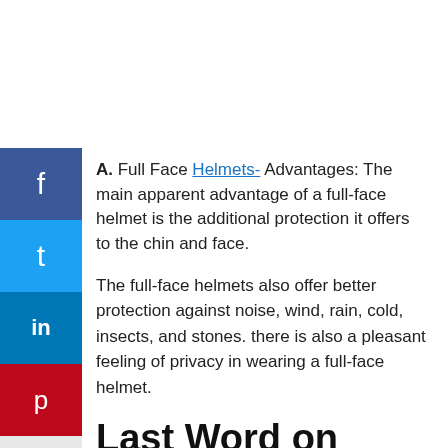A. Full Face Helmets- Advantages: The main apparent advantage of a full-face helmet is the additional protection it offers to the chin and face.
The full-face helmets also offer better protection against noise, wind, rain, cold, insects, and stones. there is also a pleasant feeling of privacy in wearing a full-face helmet.
Last Word on Best Moped Helmets
So to summation, there are special types of helmets conditional on the hobby or movement you will use it for.